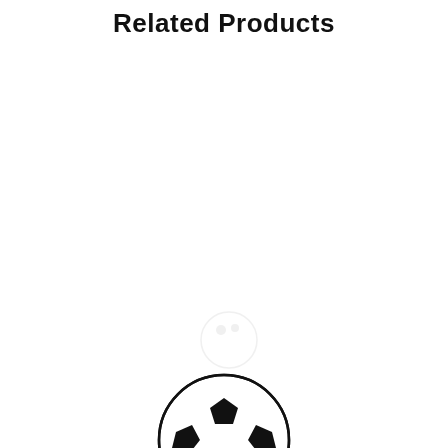Related Products
[Figure (illustration): A black and white soccer ball illustration centered on the page, with a faint shadow/ghost image above it.]